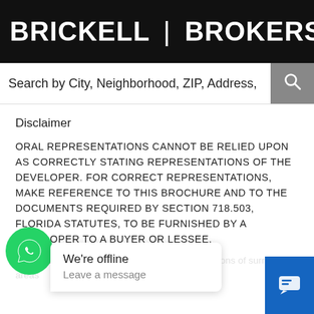BRICKELL | BROKERS
Search by City, Neighborhood, ZIP, Address,
Disclaimer
ORAL REPRESENTATIONS CANNOT BE RELIED UPON AS CORRECTLY STATING REPRESENTATIONS OF THE DEVELOPER. FOR CORRECT REPRESENTATIONS, MAKE REFERENCE TO THIS BROCHURE AND TO THE DOCUMENTS REQUIRED BY SECTION 718.503, FLORIDA STATUTES, TO BE FURNISHED BY A DEVELOPER TO A BUYER OR LESSEE.
Renderings and views which d... unit, and depictions of surrounding areas
We're offline
Leave a message